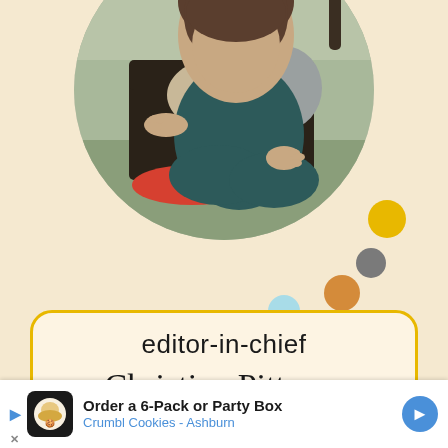[Figure (photo): Circular cropped photo of a woman sitting on outdoor furniture wearing a dark teal outfit, with cushions and a red table visible in the background. Decorative colored dots (yellow, gray, orange, light blue) are shown in the lower right area.]
editor-in-chief
Christine Pittman
Christine is the founder of TheCookful and also of her blog
[Figure (screenshot): Advertisement banner: Order a 6-Pack or Party Box Crumbl Cookies - Ashburn]